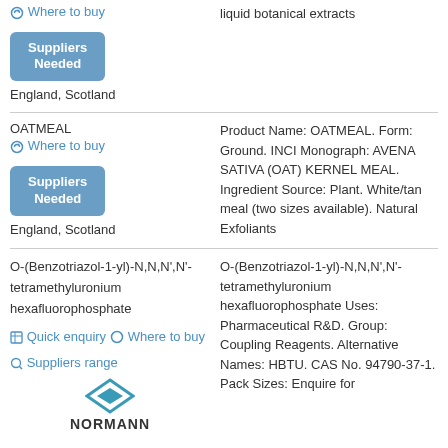Where to buy | liquid botanical extracts
[Figure (other): Suppliers Needed button (blue rounded rectangle)]
England, Scotland
OATMEAL
Where to buy
[Figure (other): Suppliers Needed button (blue rounded rectangle)]
England, Scotland
Product Name: OATMEAL. Form: Ground. INCI Monograph: AVENA SATIVA (OAT) KERNEL MEAL. Ingredient Source: Plant. White/tan meal (two sizes available). Natural Exfoliants
O-(Benzotriazol-1-yl)-N,N,N',N'-tetramethyluronium hexafluorophosphate
Quick enquiry | Where to buy | Suppliers range
[Figure (logo): NORMANN diamond logo]
O-(Benzotriazol-1-yl)-N,N,N',N'-tetramethyluronium hexafluorophosphate Uses: Pharmaceutical R&D. Group: Coupling Reagents. Alternative Names: HBTU. CAS No. 94790-37-1. Pack Sizes: Enquire for